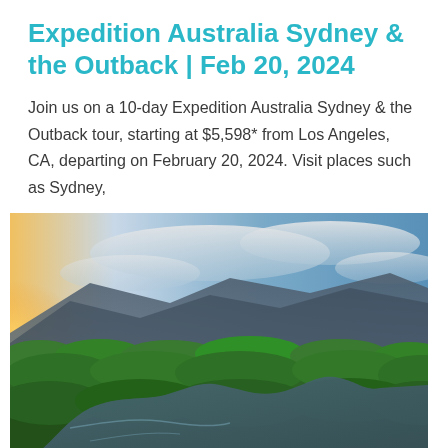Expedition Australia Sydney & the Outback | Feb 20, 2024
Join us on a 10-day Expedition Australia Sydney & the Outback tour, starting at $5,598* from Los Angeles, CA, departing on February 20, 2024. Visit places such as Sydney,
[Figure (photo): Aerial view of a winding river through lush green tropical rainforest with mountains and cloudy sky in the background, warm golden light on the left side.]
Exotic Amazon River Cruise | March